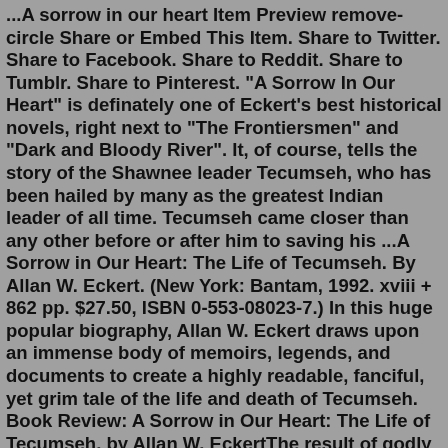...A sorrow in our heart Item Preview remove-circle Share or Embed This Item. Share to Twitter. Share to Facebook. Share to Reddit. Share to Tumblr. Share to Pinterest. "A Sorrow In Our Heart" is definately one of Eckert's best historical novels, right next to "The Frontiersmen" and "Dark and Bloody River". It, of course, tells the story of the Shawnee leader Tecumseh, who has been hailed by many as the greatest Indian leader of all time. Tecumseh came closer than any other before or after him to saving his ...A Sorrow in Our Heart: The Life of Tecumseh. By Allan W. Eckert. (New York: Bantam, 1992. xviii + 862 pp. $27.50, ISBN 0-553-08023-7.) In this huge popular biography, Allan W. Eckert draws upon an immense body of memoirs, legends, and documents to create a highly readable, fanciful, yet grim tale of the life and death of Tecumseh. Book Review: A Sorrow in Our Heart: The Life of Tecumseh, by Allan W. EckertThe result of godly sorrow is a changed heart, and it will lead us to a new life—and eventually eternal life. "For godly sorrow produces repentance